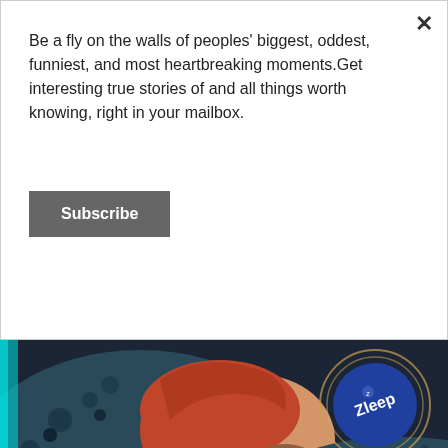Be a fly on the walls of peoples' biggest, oddest, funniest, and most heartbreaking moments.Get interesting true stories of and all things worth knowing, right in your mailbox.
Subscribe
[Figure (photo): A woman with red hair sleeping on a patterned pillow, with a Zleep sleep patch product shown in a glowing circle in the upper right]
This New Sleep Patch Technology Has Taken Th
US By Storm
Zleep
Shop Now